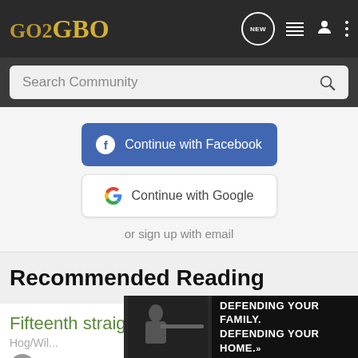GO2GBO
Search Community
Continue with Facebook
Continue with Google
or sign up with email
Recommended Reading
Fifteenth straight hunt - No Hogs
Hog/Wil...
8
[Figure (photo): Ad banner: person aiming rifle with text DEFENDING YOUR FAMILY. DEFENDING YOUR HOME.]